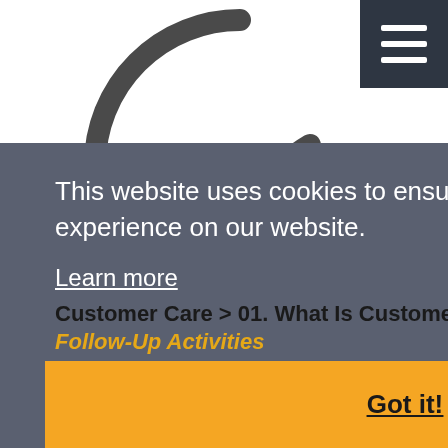[Figure (other): Loading spinner — two curved dark gray arc segments forming an incomplete circle, indicating a loading/waiting state]
[Figure (other): Dark gray hamburger menu button (three horizontal white lines on dark background) in the top-right corner]
This website uses cookies to ensure you get the best experience on our website.
Learn more
Customer Care > 01. What Is Customer Care? > 12. Follow-Up Activities
Got it!